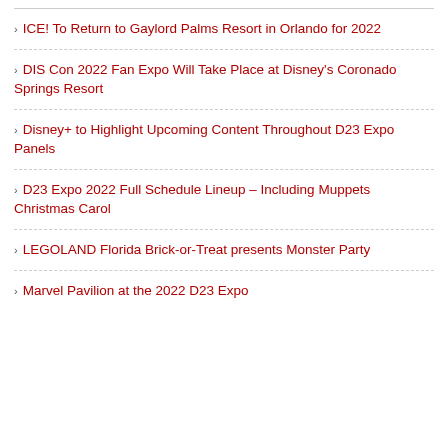ICE! To Return to Gaylord Palms Resort in Orlando for 2022
DIS Con 2022 Fan Expo Will Take Place at Disney's Coronado Springs Resort
Disney+ to Highlight Upcoming Content Throughout D23 Expo Panels
D23 Expo 2022 Full Schedule Lineup – Including Muppets Christmas Carol
LEGOLAND Florida Brick-or-Treat presents Monster Party
Marvel Pavilion at the 2022 D23 Expo